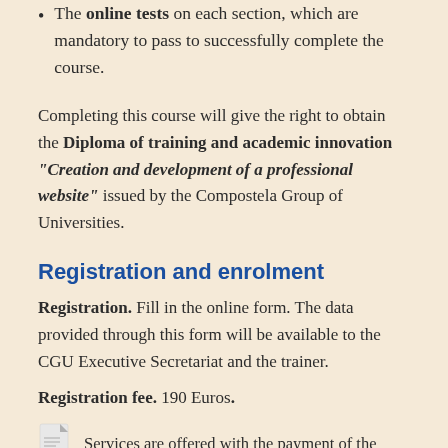The online tests on each section, which are mandatory to pass to successfully complete the course.
Completing this course will give the right to obtain the Diploma of training and academic innovation "Creation and development of a professional website" issued by the Compostela Group of Universities.
Registration and enrolment
Registration. Fill in the online form. The data provided through this form will be available to the CGU Executive Secretariat and the trainer.
Registration fee. 190 Euros.
[Figure (other): PDF icon followed by partial text: Services are offered with the payment of the]